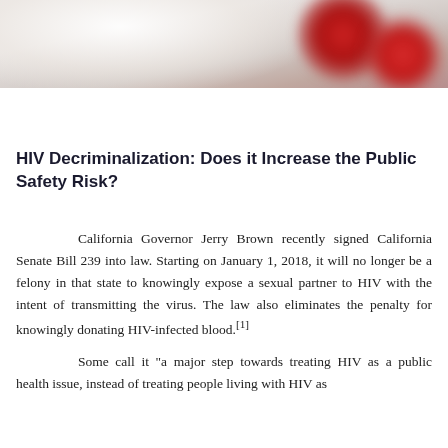[Figure (photo): Blurred photo of red pills or capsules against a light background]
HIV Decriminalization: Does it Increase the Public Safety Risk?
California Governor Jerry Brown recently signed California Senate Bill 239 into law. Starting on January 1, 2018, it will no longer be a felony in that state to knowingly expose a sexual partner to HIV with the intent of transmitting the virus. The law also eliminates the penalty for knowingly donating HIV-infected blood.[1]
Some call it “a major step towards treating HIV as a public health issue, instead of treating people living with HIV as...